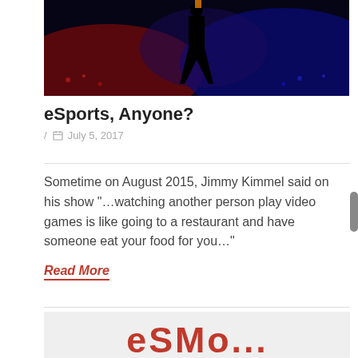[Figure (photo): Hero image with dark silhouette against colorful red and blue lit crowd/event background]
eSports, Anyone?
/ 📅 July 5, 2017
Sometime on August 2015, Jimmy Kimmel said on his show "…watching another person play video games is like going to a restaurant and have someone eat your food for you…"
Read More
[Figure (photo): Partial view of next article image with red text partially visible at bottom of page]